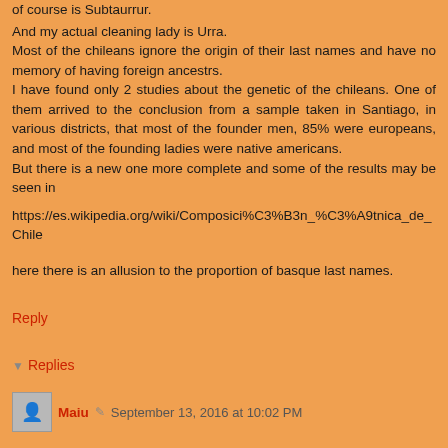of course is Subtaurrur.
And my actual cleaning lady is Urra.
Most of the chileans ignore the origin of their last names and have no memory of having foreign ancestrs.
I have found only 2 studies about the genetic of the chileans. One of them arrived to the conclusion from a sample taken in Santiago, in various districts, that most of the founder men, 85% were europeans, and most of the founding ladies were native americans.
But there is a new one more complete and some of the results may be seen in
https://es.wikipedia.org/wiki/Composici%C3%B3n_%C3%A9tnica_de_Chile
here there is an allusion to the proportion of basque last names.
Reply
▼ Replies
Maiu  September 13, 2016 at 10:02 PM